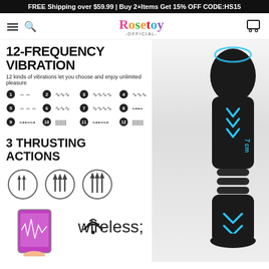FREE Shipping over $59.99 | Buy 2+Items Get 15% OFF CODE:HS15
[Figure (logo): Rosetoy Official logo with colorful letters and navigation icons (hamburger menu, search, cart)]
12-FREQUENCY VIBRATION
12 kinds of vibrations let you choose and enjoy unlimited pleasure
[Figure (infographic): 12 vibration wave pattern icons numbered 1-12 shown as waveform symbols]
3 THRUSTING ACTIONS
[Figure (infographic): 3 circular icons showing arrows pointing upward representing thrusting actions, plus a phone with wifi signal showing app control, and a product image of a black vibrator with blue chevron accents labeled 7cm]